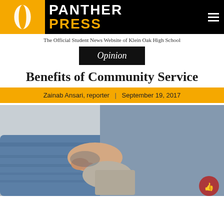[Figure (logo): Panther Press logo: yellow oval on black background with PANTHER PRESS text]
The Official Student News Website of Klein Oak High School
Opinion
Benefits of Community Service
Zainab Ansari, reporter | September 19, 2017
[Figure (photo): Close-up photo of hands gripping denim jeans, person sitting]